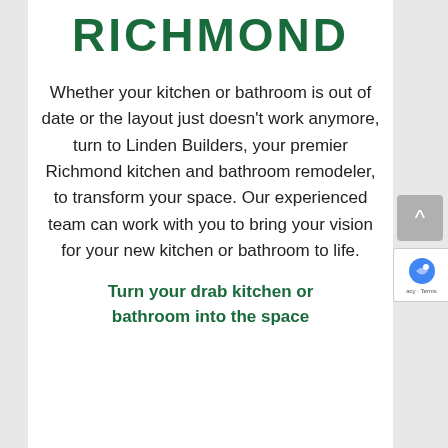RICHMOND
Whether your kitchen or bathroom is out of date or the layout just doesn't work anymore, turn to Linden Builders, your premier Richmond kitchen and bathroom remodeler, to transform your space. Our experienced team can work with you to bring your vision for your new kitchen or bathroom to life.
Turn your drab kitchen or bathroom into the space...